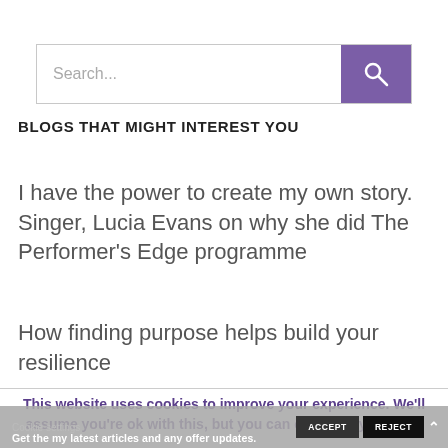[Figure (screenshot): Search bar with text 'Search...' and a purple search button with magnifying glass icon]
BLOGS THAT MIGHT INTEREST YOU
I have the power to create my own story. Singer, Lucia Evans on why she did The Performer's Edge programme
How finding purpose helps build your resilience
This website uses cookies to improve your experience. We'll assume you're ok with this, but you can opt-out if you wish.
Cookie settings   ACCEPT   REJECT   Get the my latest articles and any offer updates.